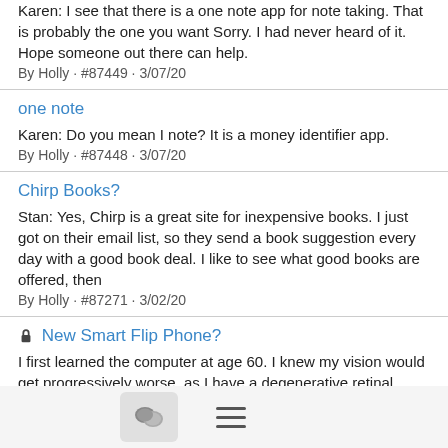Karen: I see that there is a one note app for note taking. That is probably the one you want Sorry. I had never heard of it. Hope someone out there can help.
By Holly · #87449 · 3/07/20
one note
Karen: Do you mean I note? It is a money identifier app.
By Holly · #87448 · 3/07/20
Chirp Books?
Stan: Yes, Chirp is a great site for inexpensive books. I just got on their email list, so they send a book suggestion every day with a good book deal. I like to see what good books are offered, then
By Holly · #87271 · 3/02/20
New Smart Flip Phone?
I first learned the computer at age 60. I knew my vision would get progressively worse, as I have a degenerative retinal disease, so didn't want to be sitting in the dark with no way of communicating